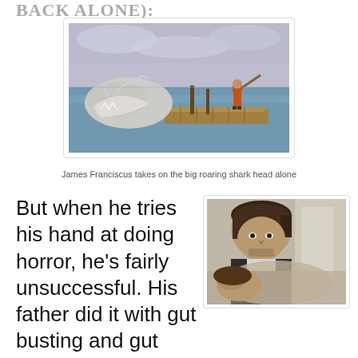BACK ALONE):
[Figure (photo): James Franciscus standing on a raft with a pole as a large shark rises from the water nearby, ocean scene with overcast sky]
James Franciscus takes on the big roaring shark head alone
But when he tries his hand at doing horror, he's fairly unsuccessful. His father did it with gut busting and gut munching gusto with the cult favorite, ZOMBIE HOLOCAUST (1980). When Enzo went for the jugular, his movie fails on most levels. While
[Figure (photo): Close-up of two people, a man looking down at a woman lying down, appears to be a scene from a film]